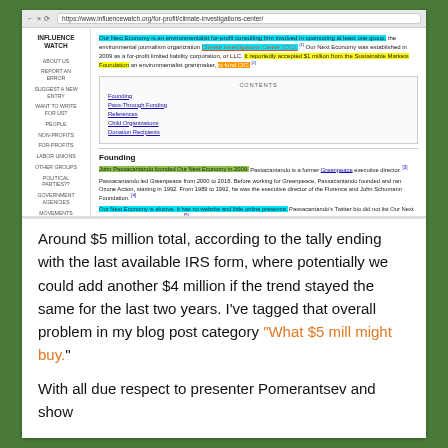[Figure (screenshot): Screenshot of InfluenceWatch website showing entry for Our Next Economy, with browser chrome, left navigation sidebar, and article content including highlighted text, table of contents, and Founding section.]
Around $5 million total, according to the tally ending with the last available IRS form, where potentially we could add another $4 million if the trend stayed the same for the last two years. I've tagged that overall problem in my blog post category "What $5 mill might buy."
With all due respect to presenter Pomerantsev and show